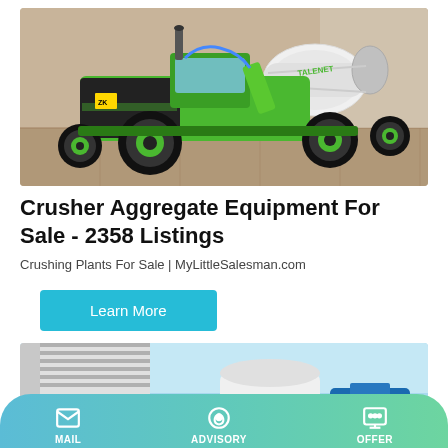[Figure (photo): Green and black TALENET self-loading concrete mixer truck on a tiled surface]
Crusher Aggregate Equipment For Sale - 2358 Listings
Crushing Plants For Sale | MyLittleSalesman.com
Learn More
[Figure (photo): Blue industrial crushing/aggregate equipment near a white industrial building under blue sky]
MAIL   ADVISORY   OFFER